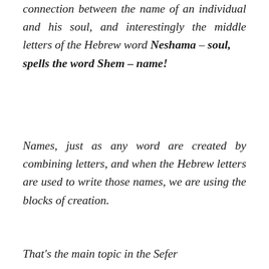connection between the name of an individual and his soul, and interestingly the middle letters of the Hebrew word Neshama – soul, spells the word Shem – name!
Names, just as any word are created by combining letters, and when the Hebrew letters are used to write those names, we are using the blocks of creation.
That's the main topic in the Sefer